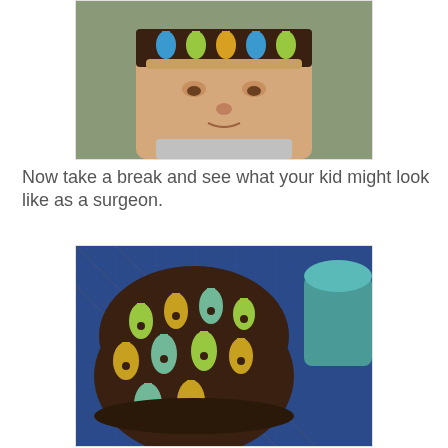[Figure (photo): A child looking down, wearing a colorful guitar-patterned headband/surgical cap in blue, green, yellow on brown background. Child wearing a gray t-shirt. Background is olive/green fabric.]
Now take a break and see what your kid might look like as a surgeon.
[Figure (photo): A completed surgical cap/scrub hat made from fabric with colorful guitar pattern (yellow, green, teal guitars on dark brown background), placed on a blue cutting mat. A teal pin cushion or small object is visible to the right.]